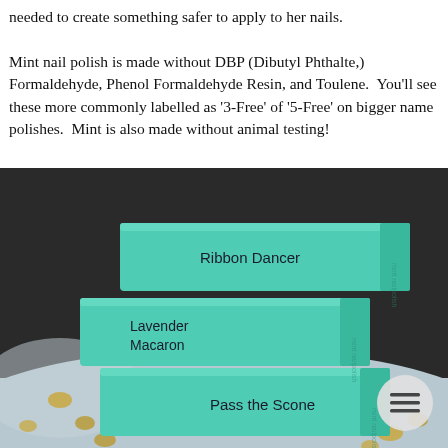needed to create something safer to apply to her nails.

Mint nail polish is made without DBP (Dibutyl Phthalte,) Formaldehyde, Phenol Formaldehyde Resin, and Toulene. You'll see these more commonly labelled as '3-Free' of '5-Free' on bigger name polishes. Mint is also made without animal testing!
[Figure (photo): Stack of three teal/mint colored nail polish boxes on a light blue surface with coins scattered around. From top to bottom the boxes are labeled: Ribbon Dancer, Lavender Macaron, Pass the Scone. Dark background. A circular menu icon is visible in the bottom right.]